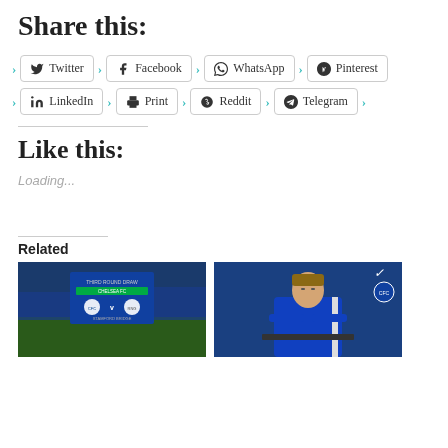Share this:
Twitter
Facebook
WhatsApp
Pinterest
LinkedIn
Print
Reddit
Telegram
Like this:
Loading...
Related
[Figure (photo): Chelsea stadium with third round draw scoreboard displayed]
[Figure (photo): Frank Lampard seated with arms crossed wearing Chelsea training jacket]